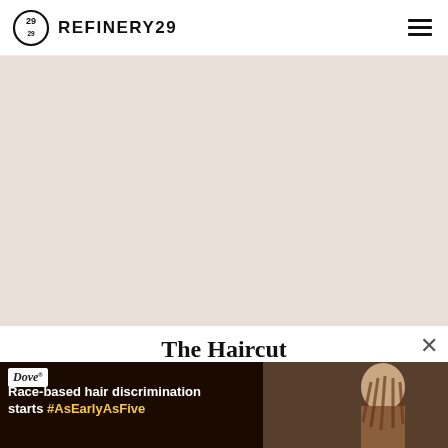REFINERY29
[Figure (photo): Large photo area for article image, light beige/tan background]
The Haircut
"For ye... hing, but in some ways that is shifting," says Jon Reyman, editorial
[Figure (photo): Dove advertisement banner: 'Race-based hair discrimination starts #AsEarlyAsFive' with image of woman with braids]